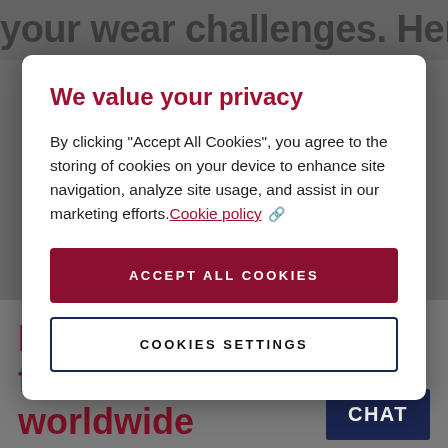your wear challenges. Here's your
We value your privacy
By clicking “Accept All Cookies”, you agree to the storing of cookies on your device to enhance site navigation, analyze site usage, and assist in our marketing efforts. Cookie policy 🔗
ACCEPT ALL COOKIES
COOKIES SETTINGS
Locally available from a worldwide network
CHAT